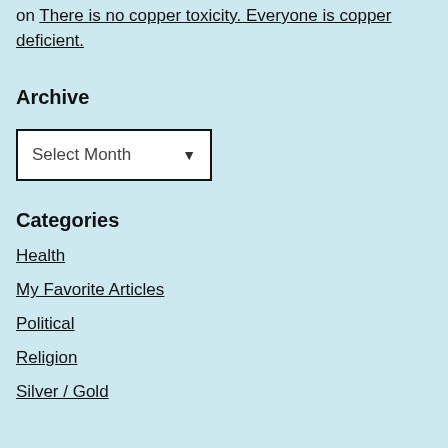on There is no copper toxicity. Everyone is copper deficient.
Archive
[Figure (other): A dropdown/select widget with text 'Select Month' and a down arrow icon, styled with a black border on a white background.]
Categories
Health
My Favorite Articles
Political
Religion
Silver / Gold